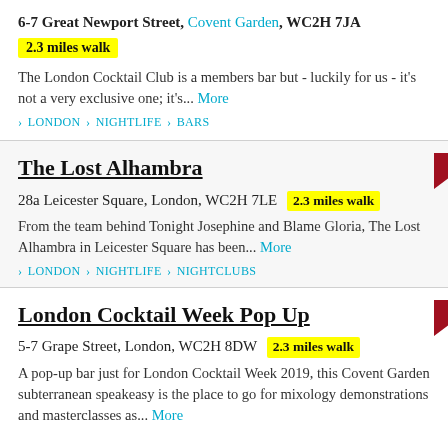6-7 Great Newport Street, Covent Garden, WC2H 7JA
2.3 miles walk
The London Cocktail Club is a members bar but - luckily for us - it's not a very exclusive one; it's... More
> LONDON > NIGHTLIFE > BARS
The Lost Alhambra
28a Leicester Square, London, WC2H 7LE  2.3 miles walk
From the team behind Tonight Josephine and Blame Gloria, The Lost Alhambra in Leicester Square has been... More
> LONDON > NIGHTLIFE > NIGHTCLUBS
London Cocktail Week Pop Up
5-7 Grape Street, London, WC2H 8DW  2.3 miles walk
A pop-up bar just for London Cocktail Week 2019, this Covent Garden subterranean speakeasy is the place to go for mixology demonstrations and masterclasses as... More